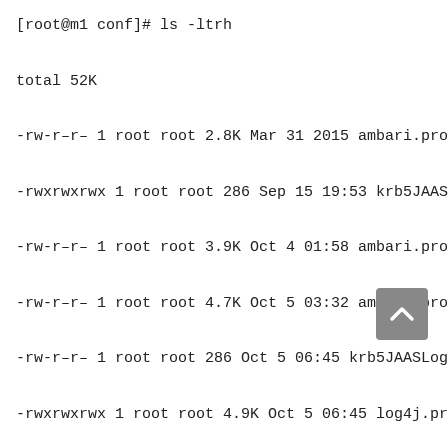[root@m1 conf]# ls -ltrh

total 52K

-rw-r--r-- 1 root root 2.8K Mar 31  2015 ambari.properties.r

-rwxrwxrwx 1 root root  286 Sep 15 19:53 krb5JAASLogin.c

-rw-r--r-- 1 root root 3.9K Oct  4 01:58 ambari.properties.rp

-rw-r--r-- 1 root root 4.7K Oct  5 03:32 ambari.properties.rp

-rw-r--r-- 1 root root  286 Oct  5 06:45 krb5JAASLogin.conf.r

-rwxrwxrwx 1 root root 4.9K Oct  5 06:45 log4j.properties

-rw-r--r-- 1 root root    9 Jan 31 05:35 users.txt